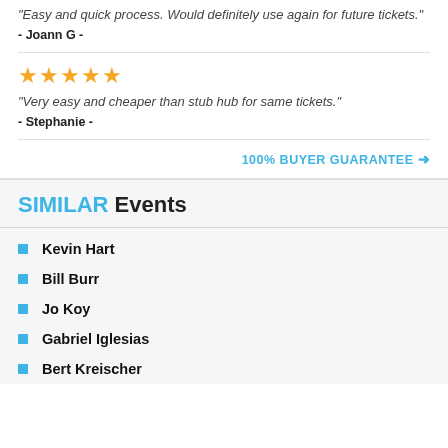"Easy and quick process. Would definitely use again for future tickets."
- Joann G -
[Figure (other): 5 orange/yellow star rating icons]
"Very easy and cheaper than stub hub for same tickets."
- Stephanie -
100% BUYER GUARANTEE →
SIMILAR Events
Kevin Hart
Bill Burr
Jo Koy
Gabriel Iglesias
Bert Kreischer